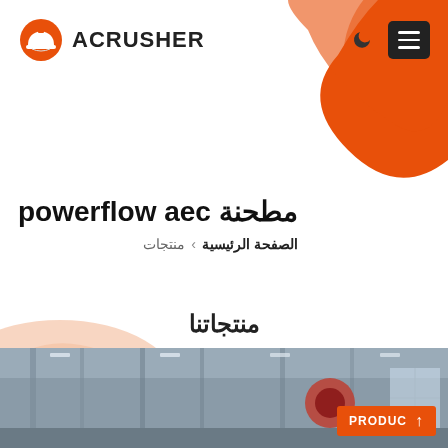[Figure (logo): Acrusher logo with orange hard hat icon and bold text ACRUSHER]
powerflow aec مطحنة
منتجات › الصفحة الرئيسية
منتجاتنا
[Figure (photo): Industrial factory interior showing machinery and ceiling structure with orange PRODUC badge]